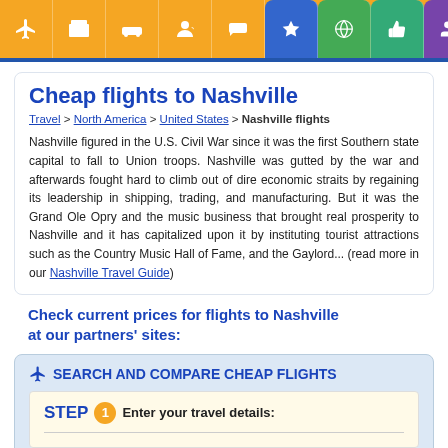[Figure (screenshot): Navigation bar with orange background containing travel category icons (flights, hotels, car rental, activities, cruises) and colored rounded icon buttons (blue star, green globe, green thumbs up, purple group, magenta quote, red pencil)]
Cheap flights to Nashville
Travel > North America > United States > Nashville flights
Nashville figured in the U.S. Civil War since it was the first Southern state capital to fall to Union troops. Nashville was gutted by the war and afterwards fought hard to climb out of dire economic straits by regaining its leadership in shipping, trading, and manufacturing. But it was the Grand Ole Opry and the music business that brought real prosperity to Nashville and it has capitalized upon it by instituting tourist attractions such as the Country Music Hall of Fame, and the Gaylord... (read more in our Nashville Travel Guide)
Check current prices for flights to Nashville at our partners' sites:
SEARCH AND COMPARE CHEAP FLIGHTS
STEP 1 Enter your travel details: